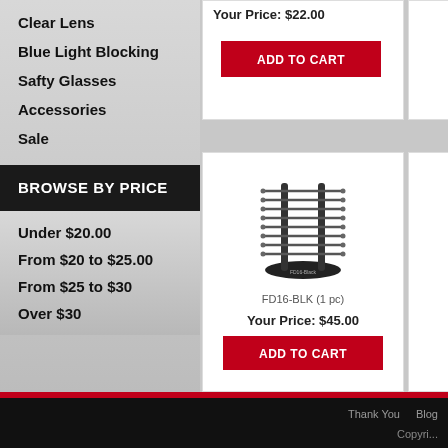Clear Lens
Blue Light Blocking
Safty Glasses
Accessories
Sale
BROWSE BY PRICE
Under $20.00
From $20 to $25.00
From $25 to $30
Over $30
Your Price: $22.00
ADD TO CART
[Figure (photo): Black eyeglass display stand with multiple horizontal bars, model FD16-BLK]
FD16-BLK (1 pc)
Your Price: $45.00
ADD TO CART
Thank You  Blog  Copyri...